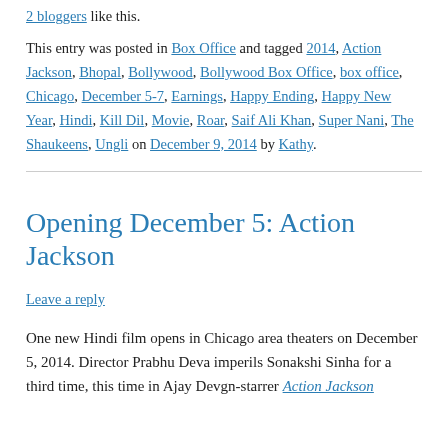2 bloggers like this.
This entry was posted in Box Office and tagged 2014, Action Jackson, Bhopal, Bollywood, Bollywood Box Office, box office, Chicago, December 5-7, Earnings, Happy Ending, Happy New Year, Hindi, Kill Dil, Movie, Roar, Saif Ali Khan, Super Nani, The Shaukeens, Ungli on December 9, 2014 by Kathy.
Opening December 5: Action Jackson
Leave a reply
One new Hindi film opens in Chicago area theaters on December 5, 2014. Director Prabhu Deva imperils Sonakshi Sinha for a third time, this time in Ajay Devgn-starrer Action Jackson